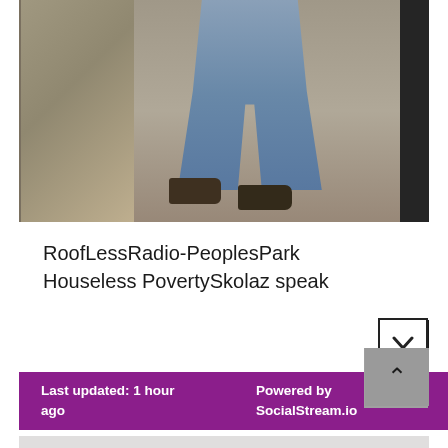[Figure (photo): A person standing on a dirt path, visible from waist down wearing blue jeans and dark boots, with dry grass/ground cover on the left side and a dark area on the right.]
RoofLessRadio-PeoplesPark Houseless PovertySkolaz speak
Last updated: 1 hour ago  Powered by SocialStream.io